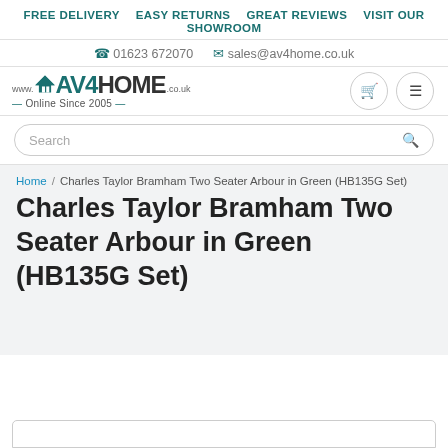FREE DELIVERY   EASY RETURNS   GREAT REVIEWS   VISIT OUR SHOWROOM
01623 672070   sales@av4home.co.uk
[Figure (logo): AV4HOME logo with house icon, www.AV4HOME.co.uk, Online Since 2005]
Search
Home / Charles Taylor Bramham Two Seater Arbour in Green (HB135G Set)
Charles Taylor Bramham Two Seater Arbour in Green (HB135G Set)